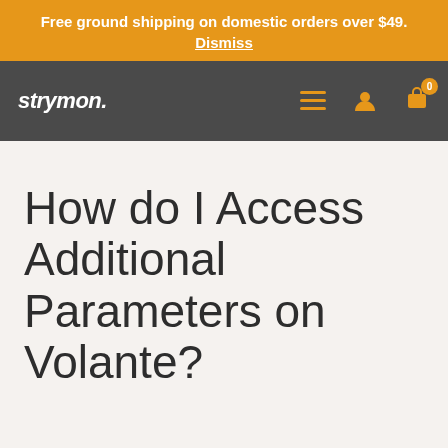Free ground shipping on domestic orders over $49. Dismiss
[Figure (screenshot): Strymon website navigation bar with logo, hamburger menu, user icon, and cart icon with badge showing 0]
How do I Access Additional Parameters on Volante?